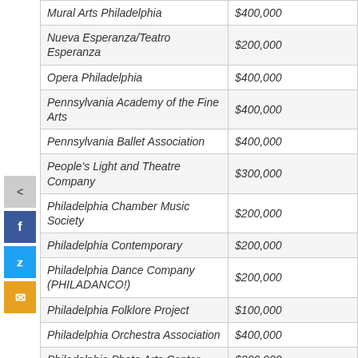| Organization | Amount |
| --- | --- |
| Mural Arts Philadelphia | $400,000 |
| Nueva Esperanza/Teatro Esperanza | $200,000 |
| Opera Philadelphia | $400,000 |
| Pennsylvania Academy of the Fine Arts | $400,000 |
| Pennsylvania Ballet Association | $400,000 |
| People's Light and Theatre Company | $300,000 |
| Philadelphia Chamber Music Society | $200,000 |
| Philadelphia Contemporary | $200,000 |
| Philadelphia Dance Company (PHILADANCO!) | $200,000 |
| Philadelphia Folklore Project | $100,000 |
| Philadelphia Orchestra Association | $400,000 |
| Philadelphia Photo Arts Center | $200,000 |
| Quintessence Theatre Group | $150,000 |
| Shakespeare in Clark Park | $50,000 |